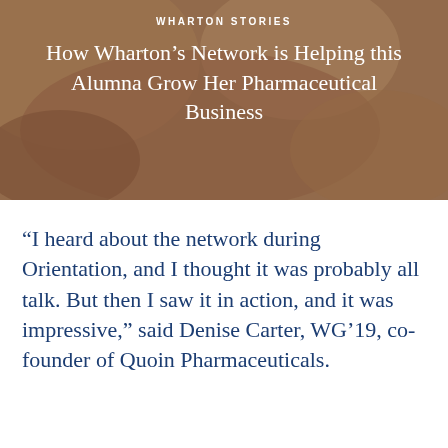WHARTON STORIES
How Wharton's Network is Helping this Alumna Grow Her Pharmaceutical Business
“I heard about the network during Orientation, and I thought it was probably all talk. But then I saw it in action, and it was impressive,” said Denise Carter, WG’19, co-founder of Quoin Pharmaceuticals.